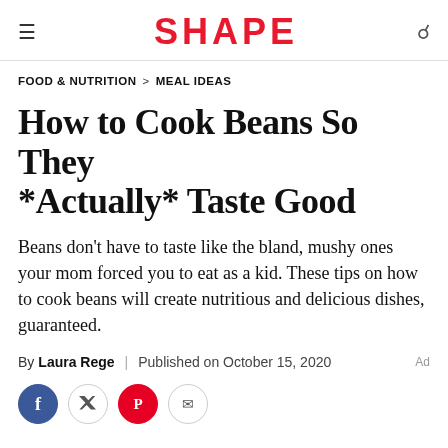SHAPE
FOOD & NUTRITION > MEAL IDEAS
How to Cook Beans So They *Actually* Taste Good
Beans don't have to taste like the bland, mushy ones your mom forced you to eat as a kid. These tips on how to cook beans will create nutritious and delicious dishes, guaranteed.
By Laura Rege | Published on October 15, 2020
[Figure (other): Social sharing icons: Facebook, Twitter/share, Pinterest, Email]